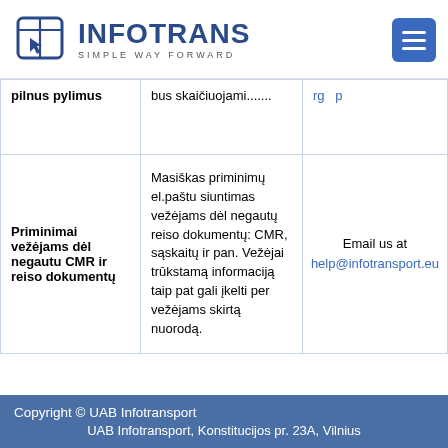INFOTRANS SIMPLE WAY FORWARD
| Feature | Description | Contact |
| --- | --- | --- |
| pilnus pylimus | bus skaičiuojami....... |  |
| Priminimai vežėjams dėl negautu CMR ir reiso dokumentų | Masiškas priminimų el.paštu siuntimas vežėjams dėl negautų reiso dokumentų: CMR, sąskaitų ir pan. Vežėjai trūkstamą informaciją taip pat gali įkelti per vežėjams skirtą nuorodą. | Email us at help@infotransport.eu |
Copyright © UAB Infotransport
UAB Infotransport, Konstitucijos pr. 23A, Vilnius